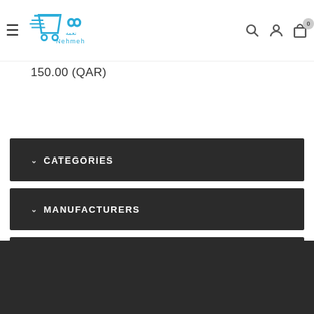[Figure (logo): Nehmeh shopping cart logo with Arabic text and 'Nehmeh' branding in blue]
150.00 (QAR)
CATEGORIES
MANUFACTURERS
POPULAR TAGS